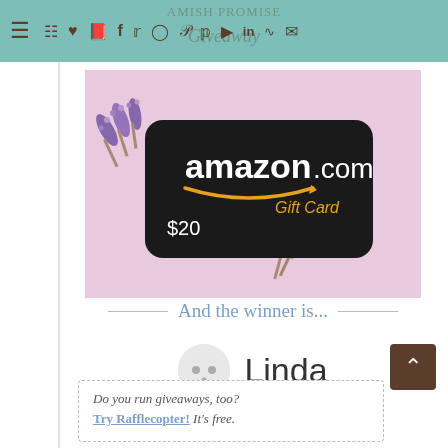AMISH PROMISE Giveaway — navigation icons bar
[Figure (photo): Amazon.com Gift Card $20 on a pink background with purple lavender flowers]
And the winner is...
Linda
Do you run giveaways, too? Try Rafflecopter! It's free.